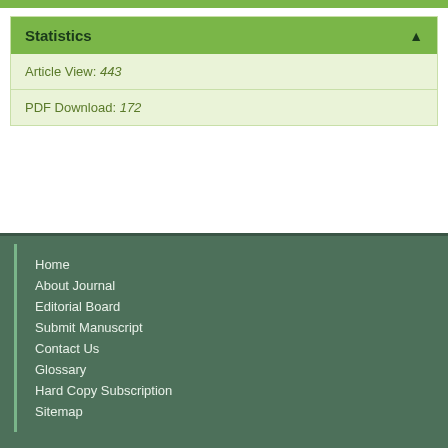Statistics
Article View: 443
PDF Download: 172
Home
About Journal
Editorial Board
Submit Manuscript
Contact Us
Glossary
Hard Copy Subscription
Sitemap